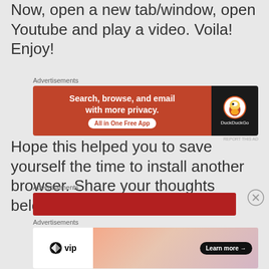Now, open a new tab/window, open Youtube and play a video. Voila! Enjoy!
[Figure (screenshot): DuckDuckGo advertisement banner: orange/red left panel with text 'Search, browse, and email with more privacy. All in One Free App' and dark right panel with DuckDuckGo duck logo and brand name]
Hope this helped you to save yourself the time to install another browser. Share your thoughts below.
[Figure (screenshot): Red bar advertisement banner]
[Figure (screenshot): WordPress VIP advertisement banner with WP VIP logo on white left panel and gradient peach/pink right panel with 'Learn more →' button]